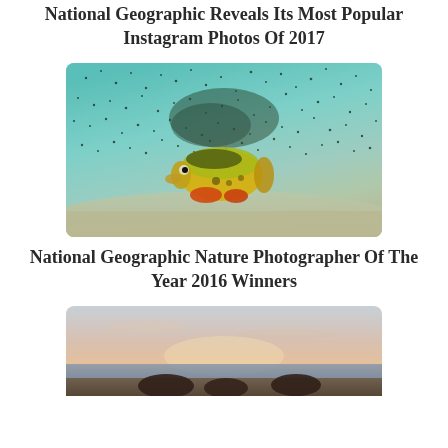National Geographic Reveals Its Most Popular Instagram Photos Of 2017
[Figure (photo): Underwater photo of a yellow and orange perch fish surrounded by scattered small dark fish/particles against a sandy bottom and teal water background]
National Geographic Nature Photographer Of The Year 2016 Winners
[Figure (photo): Sunset or sunrise beach/landscape photo with pastel pink and peach sky, calm water, and dark foreground silhouette]